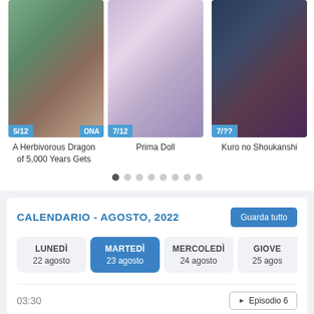[Figure (screenshot): Anime carousel showing three titles: A Herbivorous Dragon of 5,000 Years Gets (5/12, ONA), Prima Doll (7/12), Kuro no Shoukanshi (7/??)]
A Herbivorous Dragon of 5,000 Years Gets
Prima Doll
Kuro no Shoukanshi
CALENDARIO - AGOSTO, 2022
| LUNEDÌ | MARTEDÌ | MERCOLEDÌ | GIOVE... |
| --- | --- | --- | --- |
| 22 agosto | 23 agosto | 24 agosto | 25 agos... |
03:30
Love Live! Superstar!! 2
13:30
Cinderella Chef 3